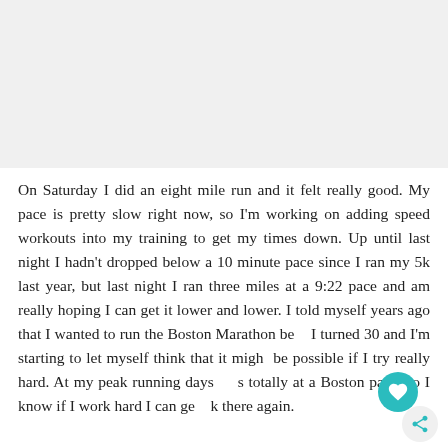[Figure (photo): Placeholder image area at top of page, light gray background]
On Saturday I did an eight mile run and it felt really good. My pace is pretty slow right now, so I'm working on adding speed workouts into my training to get my times down. Up until last night I hadn't dropped below a 10 minute pace since I ran my 5k last year, but last night I ran three miles at a 9:22 pace and am really hoping I can get it lower and lower. I told myself years ago that I wanted to run the Boston Marathon be I turned 30 and I'm starting to let myself think that it migh be possible if I try really hard. At my peak running days s totally at a Boston pace, so I know if I work hard I can ge k there again.